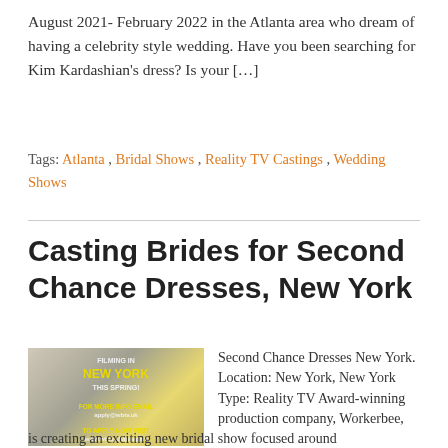August 2021- February 2022 in the Atlanta area who dream of having a celebrity style wedding. Have you been searching for Kim Kardashian's dress? Is your […]
Tags: Atlanta , Bridal Shows , Reality TV Castings , Wedding Shows
Casting Brides for Second Chance Dresses, New York
[Figure (photo): Promotional image for Second Chance Dresses New York filming, showing a bride in a white wedding dress with text overlay: FILMING IN NEW YORK THIS SPRING! FOR MORE INFO EMAIL apply@wbtv.uk TO APPLY NOW VISIT www.wbtv.uk/takepart]
Second Chance Dresses New York. Location: New York, New York Type: Reality TV Award-winning production company, Workerbee, is creating an exciting new bridal show focused around